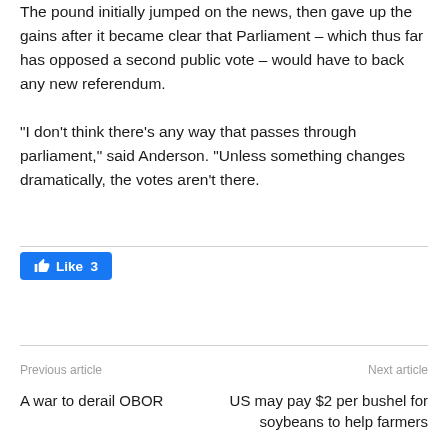The pound initially jumped on the news, then gave up the gains after it became clear that Parliament – which thus far has opposed a second public vote – would have to back any new referendum. "I don't think there's any way that passes through parliament," said Anderson. "Unless something changes dramatically, the votes aren't there.
[Figure (other): Facebook Like button showing 'Like 3' in blue]
Previous article
Next article
A war to derail OBOR
US may pay $2 per bushel for soybeans to help farmers